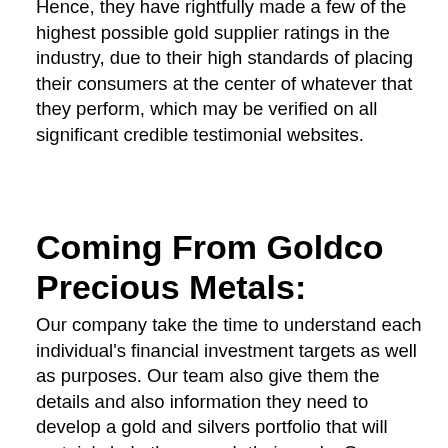Hence, they have rightfully made a few of the highest possible gold supplier ratings in the industry, due to their high standards of placing their consumers at the center of whatever that they perform, which may be verified on all significant credible testimonial websites.
Coming From Goldco Precious Metals:
Our company take the time to understand each individual's financial investment targets as well as purposes. Our team also give them the details and also information they need to develop a gold and silvers portfolio that will certainly help them reach their goals. Our organization and credibility are